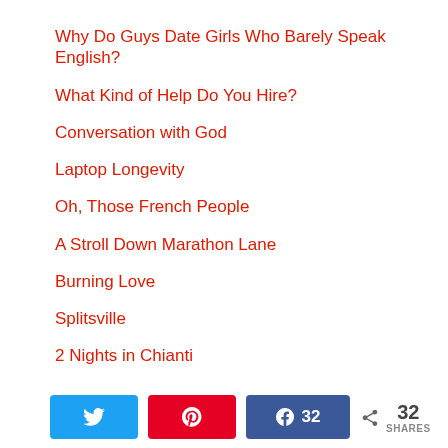Why Do Guys Date Girls Who Barely Speak English?
What Kind of Help Do You Hire?
Conversation with God
Laptop Longevity
Oh, Those French People
A Stroll Down Marathon Lane
Burning Love
Splitsville
2 Nights in Chianti
32 SHARES